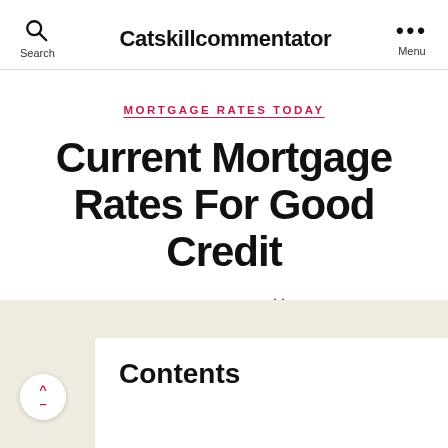Catskillcommentator
MORTGAGE RATES TODAY
Current Mortgage Rates For Good Credit
By Derrick
Contents